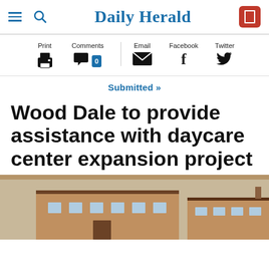Daily Herald
Print   Comments 0   Email   Facebook   Twitter
Submitted »
Wood Dale to provide assistance with daycare center expansion project
[Figure (photo): Proposed renderings of a daycare center building expansion — two brick buildings side by side]